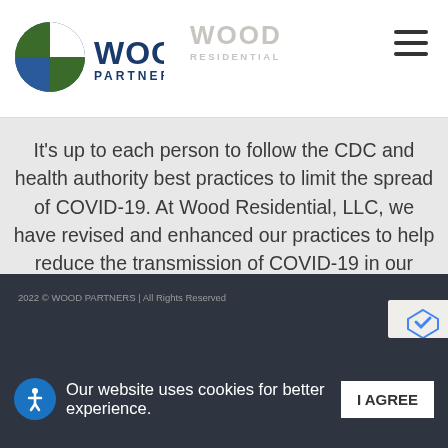[Figure (logo): Wood Partners logo with circular icon on left and 'WOOD PARTNERS' text, alongside faded 'WOOD RESIDENTIAL' text]
It's up to each person to follow the CDC and health authority best practices to limit the spread of COVID-19. At Wood Residential, LLC, we have revised and enhanced our practices to help reduce the transmission of COVID-19 in our communities. When visiting or living at a Wood Residential community, you will see heightened cleaning measures, thoughtful amenity management plans, and flexible, virtual options to communicate with our management team.
2022 © WOOD PARTNERS | All Rights Reserved
Our website uses cookies for better experience.